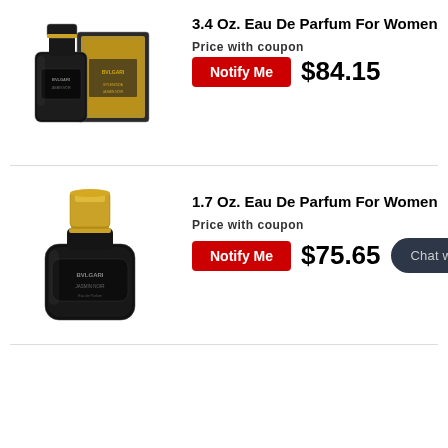[Figure (photo): Bvlgari 3.4 Oz Eau De Parfum For Women product bottle and box, black with gold accents]
3.4 Oz. Eau De Parfum For Women
Price with coupon
Notify Me
$84.15
[Figure (photo): Bvlgari 1.7 Oz Eau De Parfum For Women product bottle, black with gold cap]
1.7 Oz. Eau De Parfum For Women
Price with coupon
Notify Me
$75.65
Chat with us